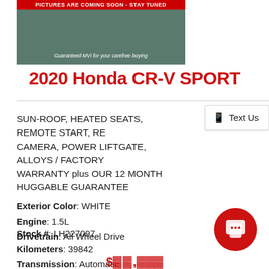[Figure (photo): Car listing image placeholder with red banner saying 'PICTURES ARE COMING SOON - STAY TUNED' and italic text 'Guaranteed MVI for your carefree buying']
2020 Honda CR-V SPORT
SUN-ROOF, HEATED SEATS, REMOTE START, REAR CAMERA, POWER LIFTGATE, ALLOYS / FACTORY WARRANTY plus OUR 12 MONTH HUGGABLE GUARANTEE
Exterior Color: WHITE
Engine: 1.5L
Drivetrain: All Wheel Drive
Stock #: LH227097
Kilometers: 39842
Transmission: Automatic